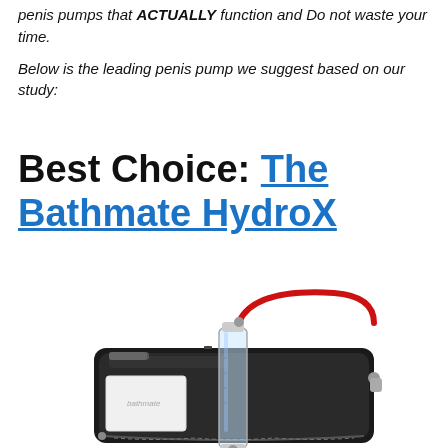penis pumps that ACTUALLY function and Do not waste your time.
Below is the leading penis pump we suggest based on our study:
Best Choice: The Bathmate HydroX
[Figure (photo): Product photo of the Bathmate HydroX penis pump kit, showing a black travel case with zipper, a clear pump cylinder with red hose attached, a white cloth/towel, and a cleaning brush, all laid out together.]